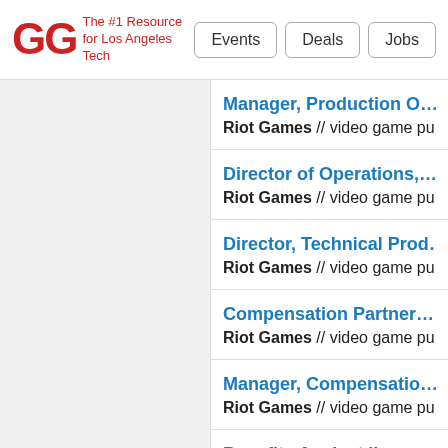GG The #1 Resource for Los Angeles Tech | Events | Deals | Jobs
Manager, Production O... — Riot Games // video game pu...
Director of Operations, ... — Riot Games // video game pu...
Director, Technical Prod... — Riot Games // video game pu...
Compensation Partner ... — Riot Games // video game pu...
Manager, Compensatio... — Riot Games // video game pu...
Benefits Analyst II — Riot Games // video game pu...